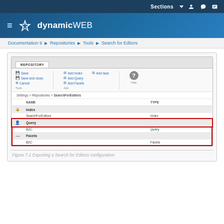Sections
[Figure (screenshot): DynamicWeb Repository panel showing REPOSITORY tab with toolbar (Save, Save and close, Cancel, Add Index, Add Query, Add Facets, Add task, Help), breadcrumb Settings > Repositories > SearchForEditors, and a table with NAME and TYPE columns. Rows: Index group row, SearchForEditors/Index data row, Query group row (highlighted red), B2C/Query data row (highlighted red), Facets group row (highlighted red), B2C/Facets data row (highlighted red).]
Figure 7.1 Exporting a Search for Editors configuration